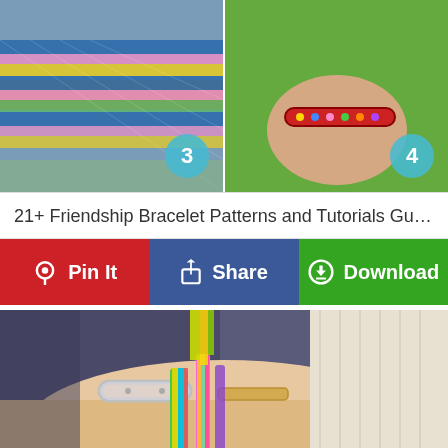[Figure (photo): Two side-by-side photos of colorful woven friendship bracelets. Left image (#3) shows close-up of multi-colored braided bracelets with blue, pink, yellow strands. Right image (#4) shows a person wearing a colorful friendship bracelet on wrist outdoors on green background.]
21+ Friendship Bracelet Patterns and Tutorials Guarant...
[Figure (infographic): Three action buttons in a row: red 'Pin It' button with Pinterest icon, blue 'Share' button with Facebook icon, green 'Download' button with download icon.]
[Figure (photo): Photo of a person's wrist wearing multiple friendship bracelets including a silver bangle, colorful chevron-patterned woven bracelets in green/yellow/pink and rainbow colors, against a grey sleeve background.]